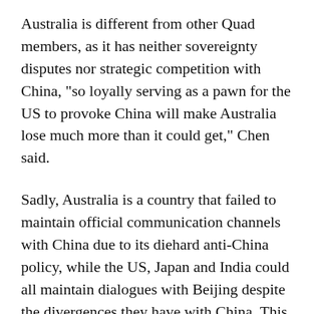Australia is different from other Quad members, as it has neither sovereignty disputes nor strategic competition with China, "so loyally serving as a pawn for the US to provoke China will make Australia lose much more than it could get," Chen said.
Sadly, Australia is a country that failed to maintain official communication channels with China due to its diehard anti-China policy, while the US, Japan and India could all maintain dialogues with Beijing despite the divergences they have with China. This proves that politicians in Canberra are making their country look stupid and keep losing the game, said Chinese experts.
"And ironically, the US even benefited from the